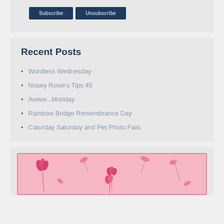Subscribe
Unsubscribe
Recent Posts
Wordless Wednesday
Nosey Rosie's Tips 45
Awww...Monday
Rainbow Bridge Remembrance Day
Caturday Saturday and Pet Photo Fails
[Figure (illustration): Pink background illustration with pink flowers/tulips scattered across the image]